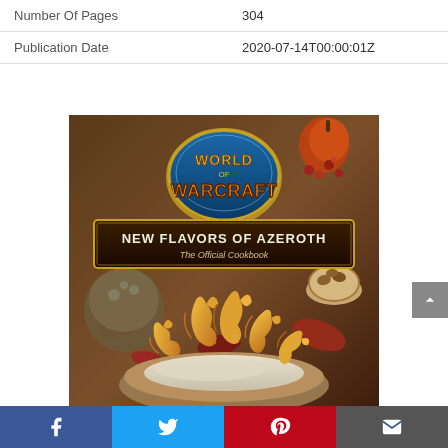|  |  |
| --- | --- |
| Number Of Pages | 304 |
| Publication Date | 2020-07-14T00:00:01Z |
[Figure (photo): Book cover of 'World of Warcraft: New Flavors of Azeroth – The Official Cookbook', showing golden pretzel/cookie figures shaped like fish or sea creatures arranged on a plate with dip, surrounded by fantasy-themed decor including a helmet, nuts, berries, and autumn leaves.]
Facebook  Twitter  Pinterest  Email